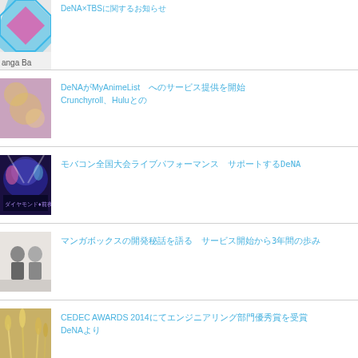DeNA×TBSで〜〜〜〜〜〜〜〜〜〜〜〜〜〜〜〜〜〜〜〜〜〜〜〜〜〜〜〜〜〜〜〜〜〜〜〜〜〜〜〜〜〜〜〜〜
DeNA〜〜〜〜MyAnimeList　〜〜〜〜〜〜〜〜〜〜Crunchyroll〜Hulu〜〜〜
〜〜〜〜〜〜〜〜〜〜〜〜〜〜〜〜〜〜　〜〜〜〜DeNA〜〜〜〜〜〜〜〜〜〜〜〜
〜〜〜〜〜〜〜〜〜〜〜〜〜〜〜〜〜〜　〜〜〜〜〜〜〜〜〜3〜〜〜〜〜〜〜〜〜〜〜
CEDEC AWARDS 2014〜〜〜〜〜〜〜〜〜〜〜〜〜〜〜DeNA〜〜〜
〜〜〜〜〜〜〜〜〜〜〜〜〜〜〜〜〜〜　〜〜〜〜〜〜〜〜〜〜〜〜〜〜〜〜